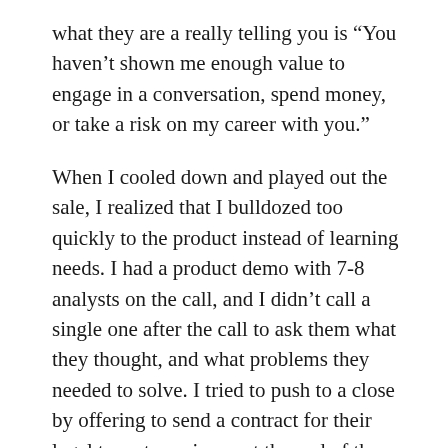what they are a really telling you is “You haven’t shown me enough value to engage in a conversation, spend money, or take a risk on my career with you.”
When I cooled down and played out the sale, I realized that I bulldozed too quickly to the product instead of learning needs. I had a product demo with 7-8 analysts on the call, and I didn’t call a single one after the call to ask them what they thought, and what problems they needed to solve. I tried to push to a close by offering to send a contract for their legal team to review – at the end of the product demo.
I did all of these things. Really. It was my